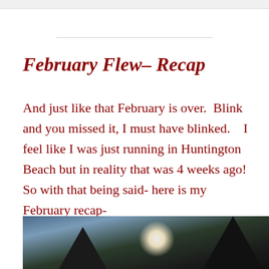February Flew– Recap
And just like that February is over.  Blink and you missed it, I must have blinked.   I feel like I was just running in Huntington Beach but in reality that was 4 weeks ago!  So with that being said- here is my February recap-
[Figure (photo): Outdoor photo showing a bright light (sun or lens flare) shining through dark tree silhouettes against a blue-grey sky, bottom portion of image visible]